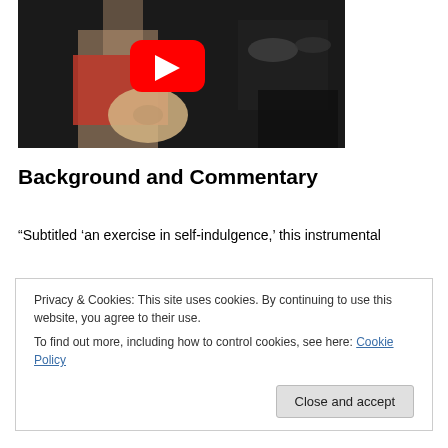[Figure (screenshot): YouTube video thumbnail showing a person in a red shirt playing a guitar, with drum kit in background and a red YouTube play button overlay in the center.]
Background and Commentary
“Subtitled ‘an exercise in self-indulgence,’ this instrumental
Privacy & Cookies: This site uses cookies. By continuing to use this website, you agree to their use.
To find out more, including how to control cookies, see here: Cookie Policy
The fused German-Spanish title of the first section is